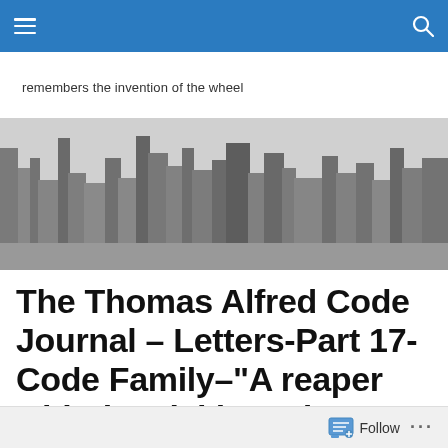Navigation bar with menu and search icons
remembers the invention of the wheel
[Figure (photo): Black and white aerial photograph of a city skyline with tall skyscrapers]
The Thomas Alfred Code Journal – Letters-Part 17- Code Family–“A reaper with the sickle and danced all night”
Follow ...